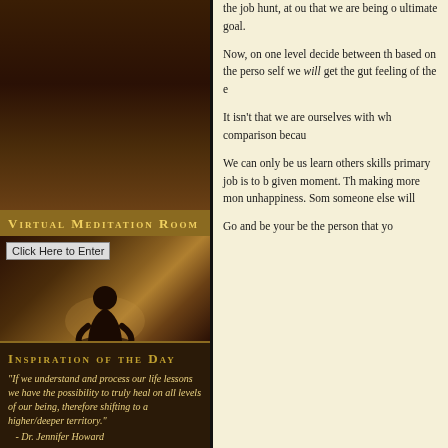[Figure (photo): Dark brown meditation room image with silhouette figure meditating]
Virtual Meditation Room
[Figure (photo): Virtual meditation room entrance with meditating silhouette figure, warm golden tones]
Inspiration of the Day
"If we understand and process our life lessons we have the possibility to truly heal on all levels of our being, therefore shifting to a higher/deeper territory."
- Dr. Jennifer Howard
the job hunt, at ou that we are being o ultimate goal.
Now, on one level decide between th based on the perso self we will get the gut feeling of the e
It isn't that we are ourselves with wh comparison becau
We can only be us learn others skills primary job is to b given moment. Th making more mon unhappiness. Som someone else will
Go and be your be the person that yo